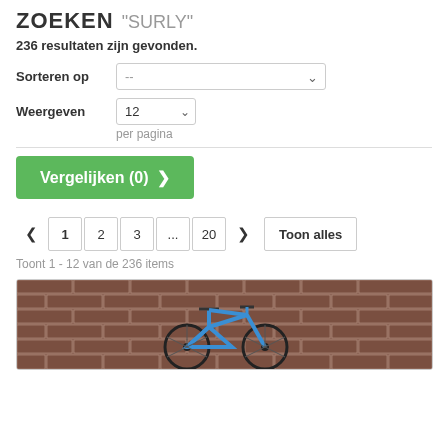ZOEKEN "SURLY"
236 resultaten zijn gevonden.
Sorteren op --
Weergeven 12 per pagina
Vergelijken (0) >
< 1 2 3 ... 20 > Toon alles
Toont 1 - 12 van de 236 items
[Figure (photo): A blue mountain bike leaning against a red brick wall]